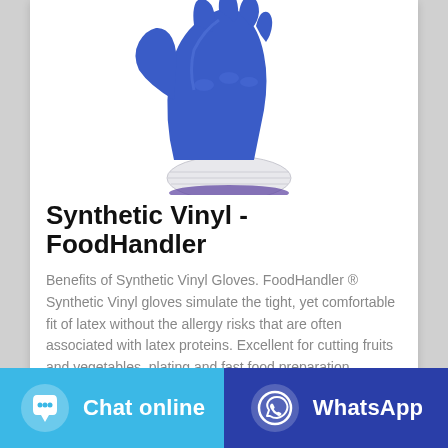[Figure (photo): A blue nitrile-coated synthetic vinyl work glove with white knitted wrist, fingers posed in an OK gesture, photographed on white background.]
Synthetic Vinyl - FoodHandler
Benefits of Synthetic Vinyl Gloves. FoodHandler ® Synthetic Vinyl gloves simulate the tight, yet comfortable fit of latex without the allergy risks that are often associated with latex proteins. Excellent for cutting fruits and vegetables, plating and fast food preparation.
[Figure (infographic): Two bottom navigation buttons: 'Chat online' (light blue with chat bubble icon) and 'WhatsApp' (dark blue with WhatsApp icon).]